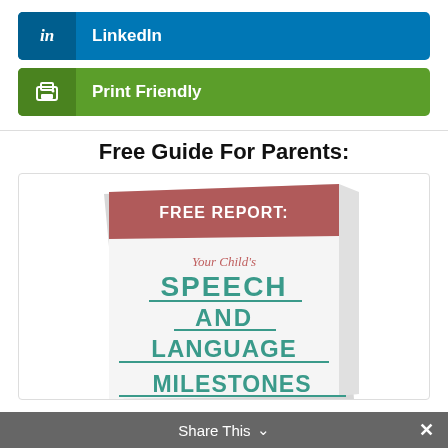[Figure (other): LinkedIn social share button — blue rounded rectangle with 'in' icon and 'LinkedIn' label in white]
[Figure (other): Print Friendly button — green rounded rectangle with printer icon and 'Print Friendly' label in white]
Free Guide For Parents:
[Figure (illustration): Book cover image showing 'FREE REPORT: Your Child's SPEECH AND LANGUAGE MILESTONES' with a mauve/pink header band and teal text on white background]
Share This